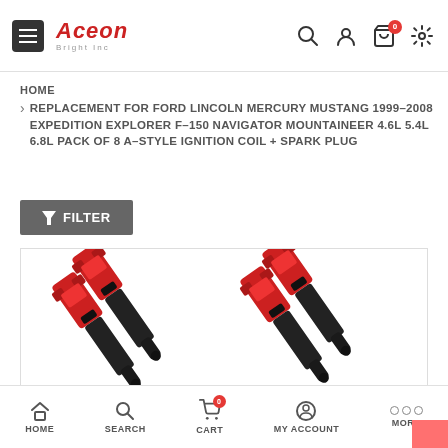Aceon Bright Inc — navigation header with search, account, cart, and settings icons
HOME
REPLACEMENT FOR FORD LINCOLN MERCURY MUSTANG 1999-2008 EXPEDITION EXPLORER F-150 NAVIGATOR MOUNTAINEER 4.6L 5.4L 6.8L PACK OF 8 A-STYLE IGNITION COIL + SPARK PLUG
FILTER
[Figure (photo): Product photo showing four red ignition coils with black connectors on a white background]
HOME | SEARCH | CART (0) | MY ACCOUNT | MORE